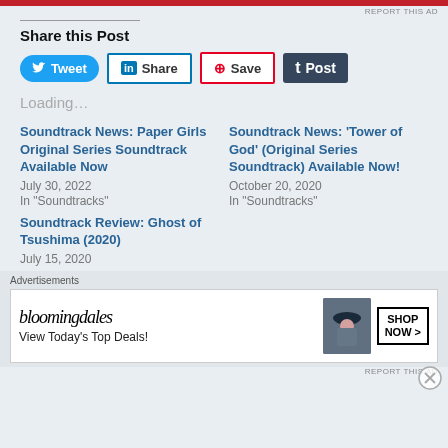[Figure (other): Red advertisement banner at top]
REPORT THIS AD
Share this Post
Tweet | Share | Save | Post (social share buttons)
Loading...
Soundtrack News: Paper Girls Original Series Soundtrack Available Now
July 30, 2022
In "Soundtracks"
Soundtrack News: 'Tower of God' (Original Series Soundtrack) Available Now!
October 20, 2020
In "Soundtracks"
Soundtrack Review: Ghost of Tsushima (2020)
July 15, 2020
Advertisements
[Figure (other): Bloomingdale's advertisement: bloomingdales logo, View Today's Top Deals!, woman with hat, SHOP NOW >]
REPORT THIS AD